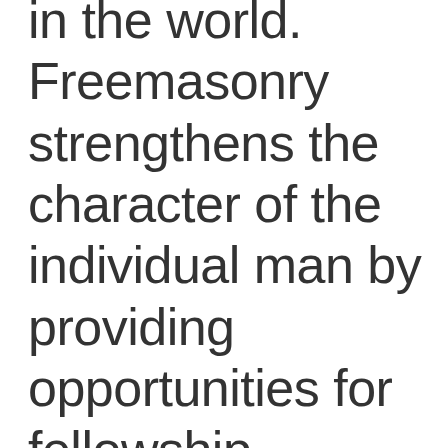in the world. Freemasonry strengthens the character of the individual man by providing opportunities for fellowship, Charity and education. “Making good men better men”.